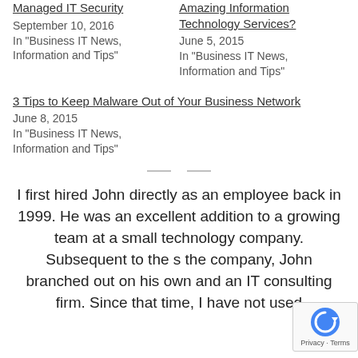Managed IT Security
September 10, 2016
In 'Business IT News, Information and Tips'
Amazing Information Technology Services?
June 5, 2015
In 'Business IT News, Information and Tips'
3 Tips to Keep Malware Out of Your Business Network
June 8, 2015
In 'Business IT News, Information and Tips'
I first hired John directly as an employee back in 1999. He was an excellent addition to a growing team at a small technology company. Subsequent to the s... the company, John branched out on his own and ... an IT consulting firm. Since that time, I have not used